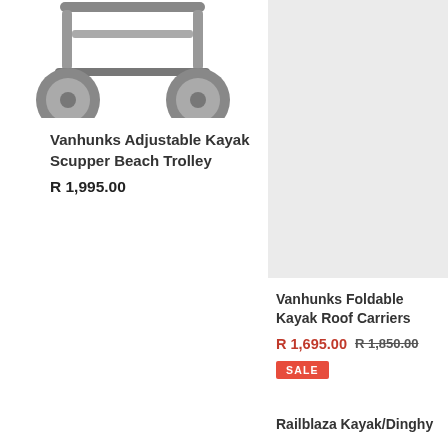[Figure (photo): Bottom view of a Vanhunks Adjustable Kayak Scupper Beach Trolley with large grey wheels, cropped at top]
Vanhunks Adjustable Kayak Scupper Beach Trolley
R 1,995.00
[Figure (photo): Vanhunks Foldable Kayak Roof Carriers product image on grey background]
Vanhunks Foldable Kayak Roof Carriers
R 1,695.00  R 1,850.00
SALE
[Figure (photo): Product card placeholder – bottom left, grey background]
[Figure (photo): Product card placeholder – bottom right, grey background]
Railblaza Kayak/Dinghy